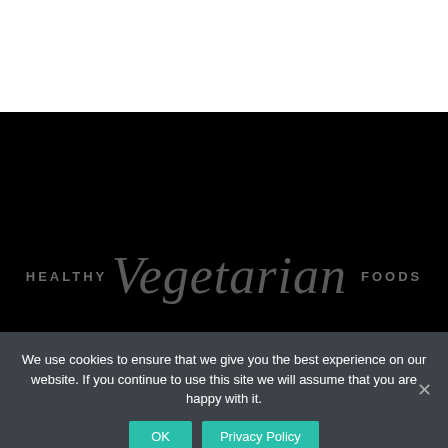[Figure (logo): Healthy Vegetarian Foods logo text on black background — 'HEALTHY' in small uppercase grey letters, 'Vegetarian' in large italic script grey font, 'FOODS' in small uppercase grey letters]
We use cookies to ensure that we give you the best experience on our website. If you continue to use this site we will assume that you are happy with it.
OK
Privacy Policy